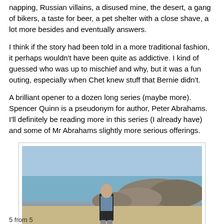napping, Russian villains, a disused mine, the desert, a gang of bikers, a taste for beer, a pet shelter with a close shave, a lot more besides and eventually answers.
I think if the story had been told in a more traditional fashion, it perhaps wouldn't have been quite as addictive. I kind of guessed who was up to mischief and why, but it was a fun outing, especially when Chet knew stuff that Bernie didn't.
A brilliant opener to a dozen long series (maybe more). Spencer Quinn is a pseudonym for author, Peter Abrahams. I'll definitely be reading more in this series (I already have) and some of Mr Abrahams slightly more serious offerings.
[Figure (photo): A person standing on a beach with two dogs — one dark/black and one light/cream coloured — with rocks and water visible in the background.]
5 from 5